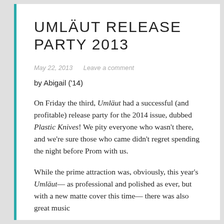UMLÄUT RELEASE PARTY 2013
May 22, 2013   Leave a comment
by Abigail ('14)
On Friday the third, Umläut had a successful (and profitable) release party for the 2014 issue, dubbed Plastic Knives! We pity everyone who wasn't there, and we're sure those who came didn't regret spending the night before Prom with us.
While the prime attraction was, obviously, this year's Umläut— as professional and polished as ever, but with a new matte cover this time— there was also great music